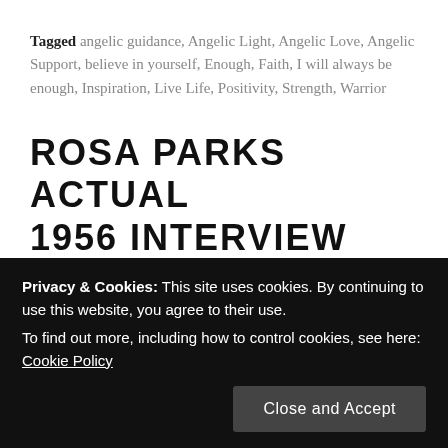Tagged angelic guidance, Angelic Light, Angelic Love, Angelic Support, believe in yourself, Enough, Faith, I will always be enough, Inspiration, Live Life, Positivity, Strength, Warrior
ROSA PARKS ACTUAL 1956 INTERVIEW
Posted on January 31, 2022 by Enlightenment Angels in Uncategorized
SHARE THIS:
Privacy & Cookies: This site uses cookies. By continuing to use this website, you agree to their use. To find out more, including how to control cookies, see here: Cookie Policy